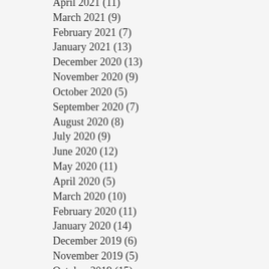April 2021 (11)
March 2021 (9)
February 2021 (7)
January 2021 (13)
December 2020 (13)
November 2020 (9)
October 2020 (5)
September 2020 (7)
August 2020 (8)
July 2020 (9)
June 2020 (12)
May 2020 (11)
April 2020 (5)
March 2020 (10)
February 2020 (11)
January 2020 (14)
December 2019 (6)
November 2019 (5)
October 2019 (15)
September 2019 (21)
August 2019 (11)
July 2019 (7)